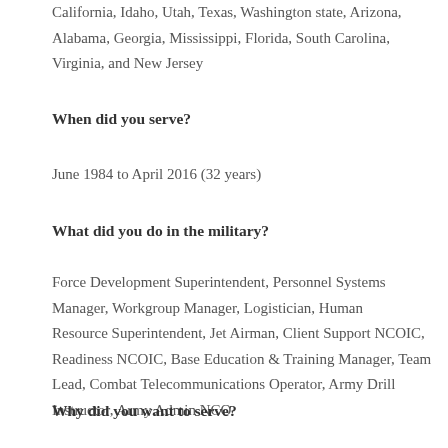California, Idaho, Utah, Texas, Washington state, Arizona, Alabama, Georgia, Mississippi, Florida, South Carolina, Virginia, and New Jersey
When did you serve?
June 1984 to April 2016 (32 years)
What did you do in the military?
Force Development Superintendent, Personnel Systems Manager, Workgroup Manager, Logistician, Human Resource Superintendent, Jet Airman, Client Support NCOIC, Readiness NCOIC, Base Education & Training Manager, Team Lead, Combat Telecommunications Operator, Army Drill Instructor, Army Admin NCO
Why did you want to serve?
From a young age I remember hearing stories of my